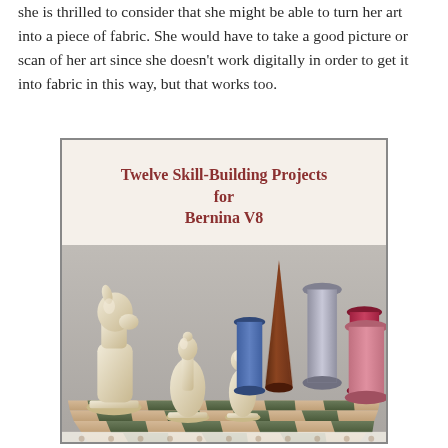she is thrilled to consider that she might be able to turn her art into a piece of fabric. She would have to take a good picture or scan of her art since she doesn't work digitally in order to get it into fabric in this way, but that works too.
[Figure (illustration): Book cover for 'Twelve Skill-Building Projects for Bernina V8' showing a decorative floral/lace pattern background in the upper portion with the title text in dark red/maroon, and a photograph in the lower portion showing chess pieces (knight, bishop, pawn) alongside several spools and cones of embroidery thread arranged on a chess board.]